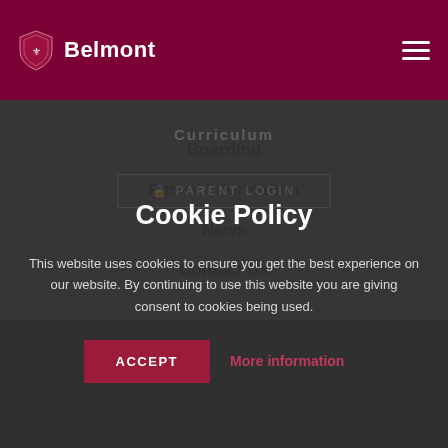Belmont
Boarding
Parent Information
News
Contact Us
Cookie Policy
This website uses cookies to ensure you get the best experience on our website. By continuing to use this website you are giving consent to cookies being used.
ACCEPT
More information
Copyright © 2020 Belmont School | Co-Educational Independent School in Surrey | All Rights